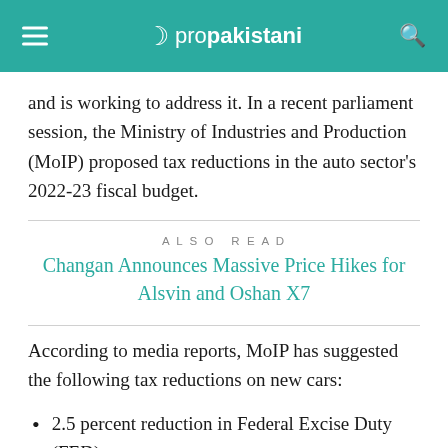☪ propakistani
and is working to address it. In a recent parliament session, the Ministry of Industries and Production (MoIP) proposed tax reductions in the auto sector's 2022-23 fiscal budget.
ALSO READ
Changan Announces Massive Price Hikes for Alsvin and Oshan X7
According to media reports, MoIP has suggested the following tax reductions on new cars:
2.5 percent reduction in Federal Excise Duty (FED)